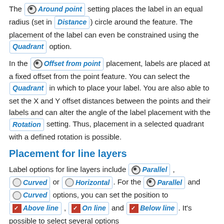The Around point setting places the label in an equal radius (set in Distance) circle around the feature. The placement of the label can even be constrained using the Quadrant option.
In the Offset from point placement, labels are placed at a fixed offset from the point feature. You can select the Quadrant in which to place your label. You are also able to set the X and Y offset distances between the points and their labels and can alter the angle of the label placement with the Rotation setting. Thus, placement in a selected quadrant with a defined rotation is possible.
Placement for line layers
Label options for line layers include Parallel, Curved or Horizontal. For the Parallel and Curved options, you can set the position to Above line, On line and Below line. It's possible to select several options